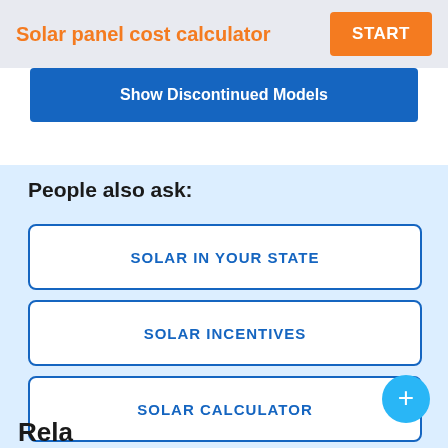Solar panel cost calculator
START
Show Discontinued Models
People also ask:
SOLAR IN YOUR STATE
SOLAR INCENTIVES
SOLAR CALCULATOR
+
Rela...